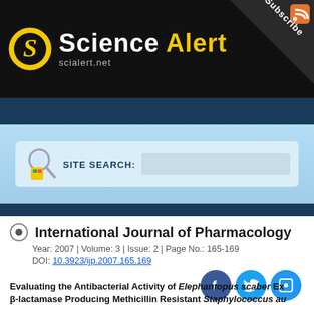[Figure (logo): Science Alert logo with yellow S emblem and white/yellow brand text on black background, with Subscribe corner fold and RSS icon]
[Figure (screenshot): Site search bar area with magnifying glass icon and SITE SEARCH: label on light blue background]
International Journal of Pharmacology
Year: 2007 | Volume: 3 | Issue: 2 | Page No.: 165-169
DOI: 10.3923/ijp.2007.165.169
Evaluating the Antibacterial Activity of Elephantopus scaber Ex β-lactamase Producing Methicillin Resistant Staphylococcus au